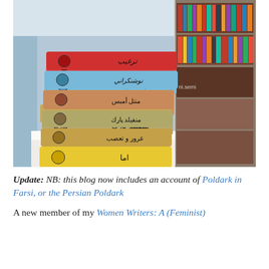[Figure (photo): A stack of books with Persian/Farsi text on their spines, placed on a white table in what appears to be a bookstore. Books from top to bottom have colored spines: red, light blue, tan/orange, olive/khaki, darker tan/gold, and yellow. Bookshelves visible in the background.]
Update: NB: this blog now includes an account of Poldark in Farsi, or the Persian Poldark
A new member of my Women Writers: A (Feminist)